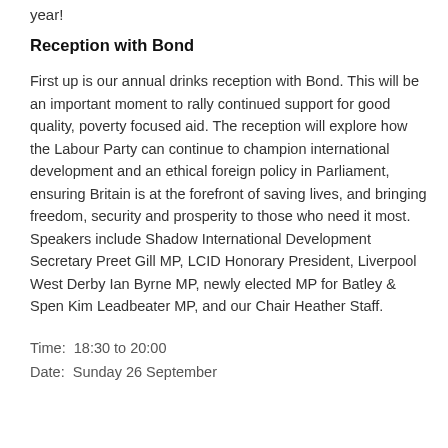year!
Reception with Bond
First up is our annual drinks reception with Bond. This will be an important moment to rally continued support for good quality, poverty focused aid. The reception will explore how the Labour Party can continue to champion international development and an ethical foreign policy in Parliament, ensuring Britain is at the forefront of saving lives, and bringing freedom, security and prosperity to those who need it most. Speakers include Shadow International Development Secretary Preet Gill MP, LCID Honorary President, Liverpool West Derby Ian Byrne MP, newly elected MP for Batley & Spen Kim Leadbeater MP, and our Chair Heather Staff.
Time:  18:30 to 20:00
Date:  Sunday 26 September